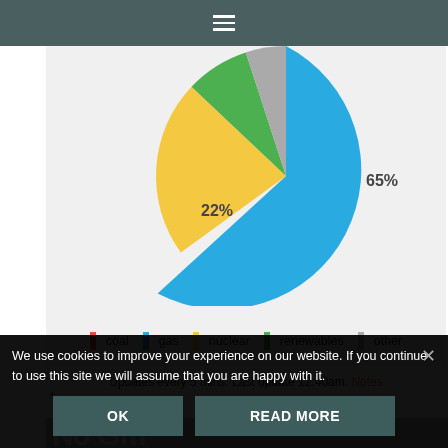≡
[Figure (pie-chart): Energy mix]
coal  gas  nuclear  renewables  other
Updates every 5 mins. Last update 12:40am. Notes
*
[Figure (photo): Large outdoor/sky photo with large white text partially visible]
We use cookies to improve your experience on our website. If you continue to use this site we will assume that you are happy with it.
OK    READ MORE